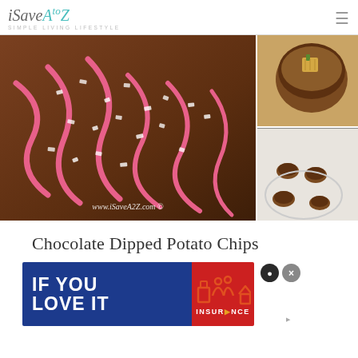iSaveAtoZ - SIMPLE LIVING LIFESTYLE
[Figure (photo): Chocolate dipped potato chips with pink drizzle and sugar crystals on left; top right shows pineapple chunks with chocolate dip; bottom right shows chocolate dipped pieces on white surface. Watermark: www.iSaveA2Z.com]
Chocolate Dipped Potato Chips
[Figure (infographic): Advertisement banner: blue section with white text IF YOU LOVE IT; red section with insurance icons and text INSURANCE. Close buttons visible.]